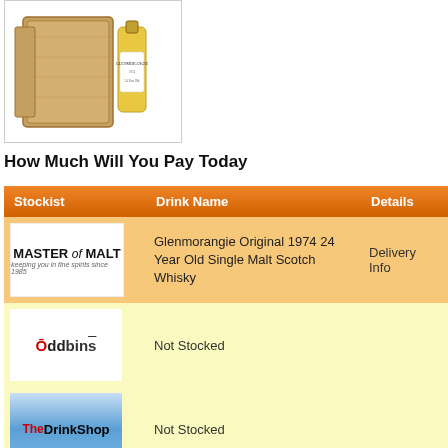[Figure (photo): Product photo of Glenmorangie Original 1974 24 Year Old Single Malt Scotch Whisky bottle in wooden box]
How Much Will You Pay Today
| Stockist | Drink Name | Details |
| --- | --- | --- |
| Master of Malt | Glenmorangie Original 1974 24 Year Old Single Malt Scotch Whisky | Delivery Info |
| Oddbins | Not Stocked |  |
| TheDrinkShop | Not Stocked |  |
| The Whisky Exchange | Not Stocked |  |